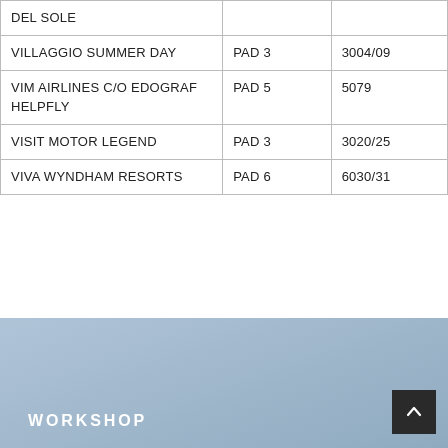| DEL SOLE |  |  |
| VILLAGGIO SUMMER DAY | PAD 3 | 3004/09 |
| VIM AIRLINES C/O EDOGRAF HELPFLY | PAD 5 | 5079 |
| VISIT MOTOR LEGEND | PAD 3 | 3020/25 |
| VIVA WYNDHAM RESORTS | PAD 6 | 6030/31 |
WORKSHOP